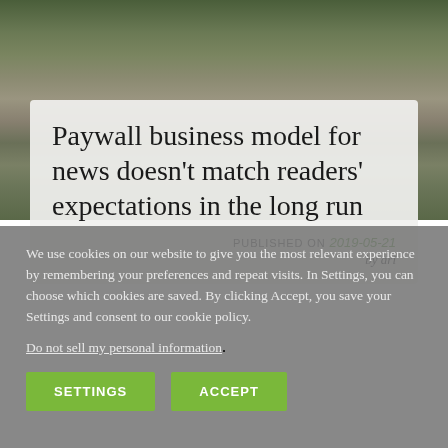[Figure (photo): Background photograph of a rocky mountainside with trees and layered rock formations]
Paywall business model for news doesn't match readers' expectations in the long run
PUBLISHED ON 2019-05-21
by ari
We use cookies on our website to give you the most relevant experience by remembering your preferences and repeat visits. In Settings, you can choose which cookies are saved. By clicking Accept, you save your Settings and consent to our cookie policy.
Do not sell my personal information.
SETTINGS
ACCEPT